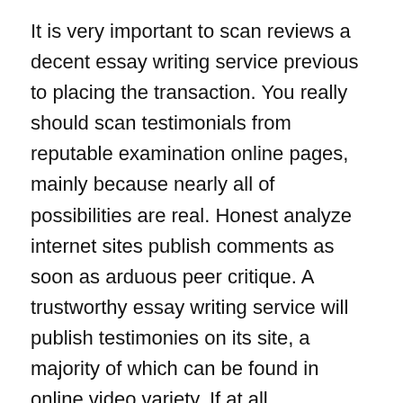It is very important to scan reviews a decent essay writing service previous to placing the transaction. You really should scan testimonials from reputable examination online pages, mainly because nearly all of possibilities are real. Honest analyze internet sites publish comments as soon as arduous peer critique. A trustworthy essay writing service will publish testimonies on its site, a majority of which can be found in online video variety. If at all conceivable, get in touch with the reviewer straight to validate their feedback. 100 % free revisions are an easy way for you to gauge the caliber within the work a company can create.
You might possibly also take a look to the rates from the essay writing service. The prices fluctuate with respect to the sort of paper you should have, the deadline, and likewise the writer you select. Cost-free revisions will also be given, very similar to the disposable bibliography and table of